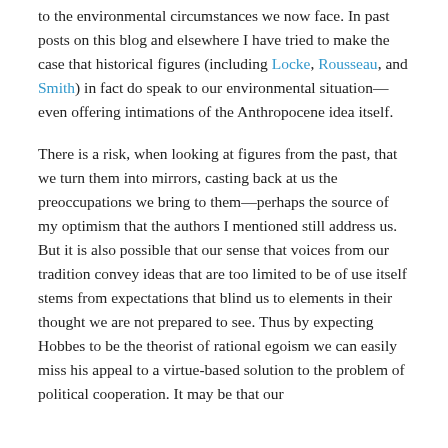to the environmental circumstances we now face. In past posts on this blog and elsewhere I have tried to make the case that historical figures (including Locke, Rousseau, and Smith) in fact do speak to our environmental situation—even offering intimations of the Anthropocene idea itself.
There is a risk, when looking at figures from the past, that we turn them into mirrors, casting back at us the preoccupations we bring to them—perhaps the source of my optimism that the authors I mentioned still address us. But it is also possible that our sense that voices from our tradition convey ideas that are too limited to be of use itself stems from expectations that blind us to elements in their thought we are not prepared to see. Thus by expecting Hobbes to be the theorist of rational egoism we can easily miss his appeal to a virtue-based solution to the problem of political cooperation. It may be that our